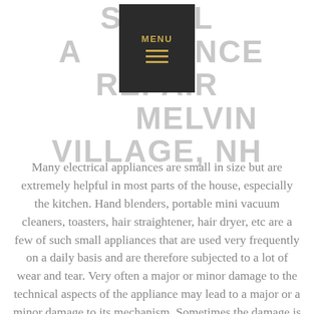SMALL APPLIANCE REPAIR MELVIN VILLAGE, NH
Many electrical appliances are small in size but are extremely helpful in most parts of the house, especially the kitchen. Hand blenders, portable mini vacuum cleaners, toasters, hair straightener, hair dryer, etc are a few of such small appliances that are used very frequently on a daily basis and are therefore subjected to a lot of wear and tear. Very often a major or minor damage to the technical aspects of the appliance may lead to a major or a minor damage to its mechanism. Sometimes the damage is so severe that it calls for a complete spare part replacement which in combination to the expert mechanic's fee comes to a huge price, which is when most people often decide to